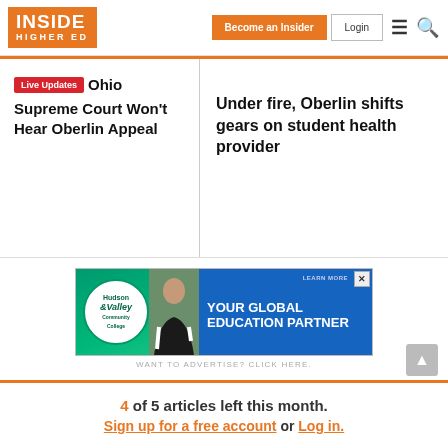Inside Higher Ed — Become an Insider | Login
Live Updates Ohio Supreme Court Won't Hear Oberlin Appeal
Under fire, Oberlin shifts gears on student health provider
[Figure (screenshot): Hudson Valley Community College advertisement — Your Global Education Partner]
WANT TO ADVERTISE? CLICK HERE.
4 of 5 articles left this month.
Sign up for a free account or Log in.